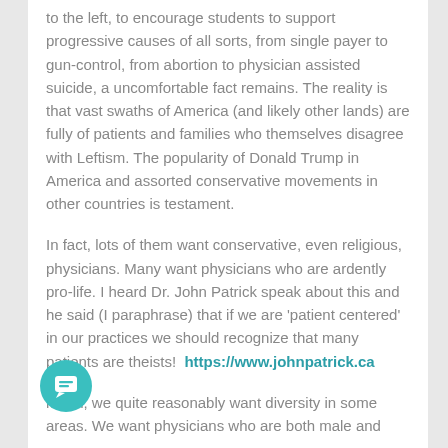to the left, to encourage students to support progressive causes of all sorts, from single payer to gun-control, from abortion to physician assisted suicide, a uncomfortable fact remains.  The reality is that vast swaths of America (and likely other lands) are fully of patients and families who themselves disagree with Leftism. The popularity of Donald Trump in America and assorted conservative movements in other countries is testament.

In fact, lots of them want conservative, even religious, physicians. Many want physicians who are ardently pro-life.  I heard Dr. John Patrick speak about this and he said (I paraphrase) that if we are 'patient centered' in our practices we should recognize that many patients are theists!  https://www.johnpatrick.ca

mean, we quite reasonably want diversity in some areas.  We want physicians who are both male and